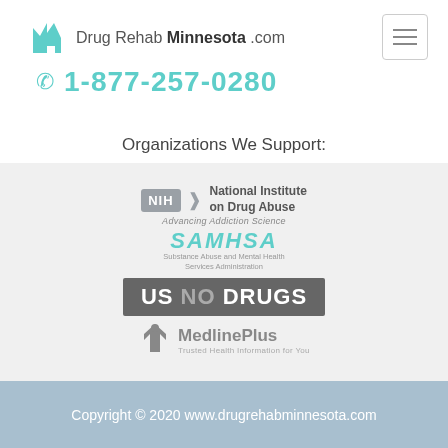Drug Rehab Minnesota .com
1-877-257-0280
Organizations We Support:
[Figure (logo): NIH National Institute on Drug Abuse - Advancing Addiction Science logo, SAMHSA Substance Abuse and Mental Health Services Administration logo, US No Drugs logo, MedlinePlus Trusted Health Information for You logo]
Copyright © 2020 www.drugrehabminnesota.com